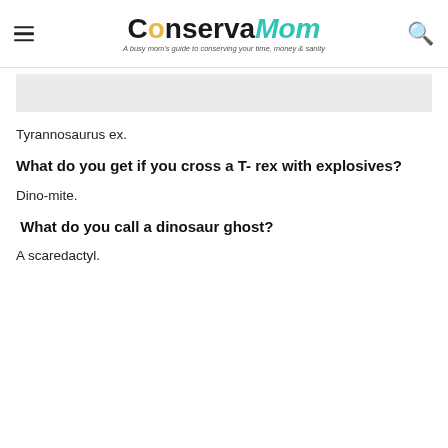ConservaMom — A busy mom's guide to conserving your time, money & sanity
Tyrannosaurus ex.
What do you get if you cross a T- rex with explosives?
Dino-mite.
What do you call a dinosaur ghost?
A scaredactyl.